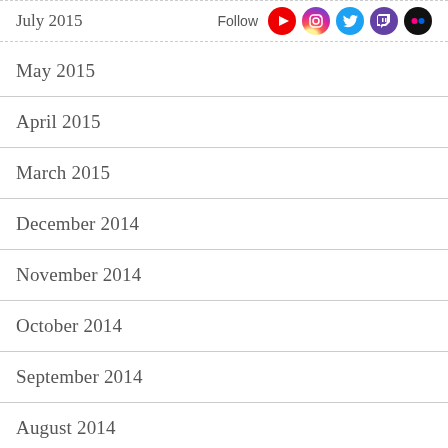July 2015
[Figure (infographic): Follow icons for YouTube, Instagram, Twitter, Twitch, and Flickr social media platforms]
May 2015
April 2015
March 2015
December 2014
November 2014
October 2014
September 2014
August 2014
July 2014